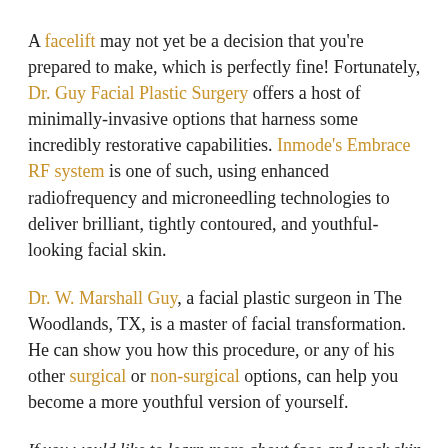A facelift may not yet be a decision that you're prepared to make, which is perfectly fine! Fortunately, Dr. Guy Facial Plastic Surgery offers a host of minimally-invasive options that harness some incredibly restorative capabilities. Inmode's Embrace RF system is one of such, using enhanced radiofrequency and microneedling technologies to deliver brilliant, tightly contoured, and youthful-looking facial skin.
Dr. W. Marshall Guy, a facial plastic surgeon in The Woodlands, TX, is a master of facial transformation. He can show you how this procedure, or any of his other surgical or non-surgical options, can help you become a more youthful version of yourself.
If you would like to learn more about face and neck skin tightening in The Woodlands, Spring, and the greater Houston area of Texas, visit our website at [link]